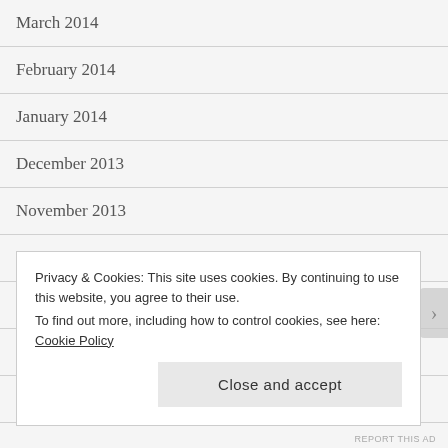March 2014
February 2014
January 2014
December 2013
November 2013
October 2013
September 2013
August 2013
July 2013
Privacy & Cookies: This site uses cookies. By continuing to use this website, you agree to their use.
To find out more, including how to control cookies, see here: Cookie Policy
Close and accept
REPORT THIS AD